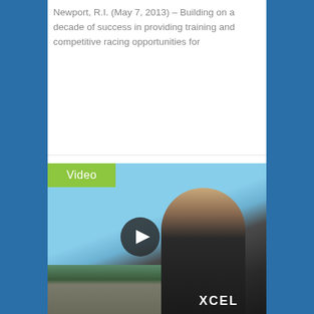Newport, R.I. (May 7, 2013) – Building on a decade of success in providing training and competitive racing opportunities for
[Figure (screenshot): A video thumbnail showing a woman in a black XCEL wetsuit outdoors near a parking area, with a play button overlay and a green 'Video' badge in the top left corner.]